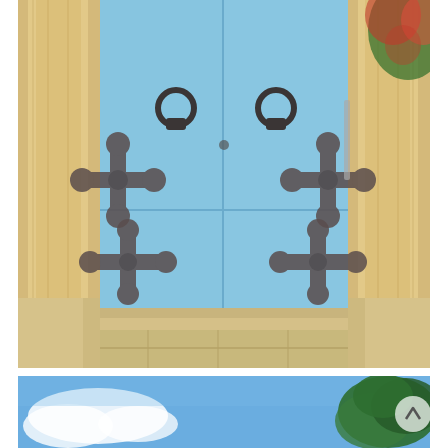[Figure (photo): A pair of light blue double doors with ornate dark metal hinges and round lion-head door knockers, set within a limestone stone archway. The doors have decorative fleur-de-lis style strap hinges. Steps and stone paving visible at the bottom. A flowering bougainvillea plant is partially visible at the top right.]
[Figure (photo): Partial view of a blue sky with white clouds and a large green tree (possibly a pine or cypress) visible at the right side of the frame.]